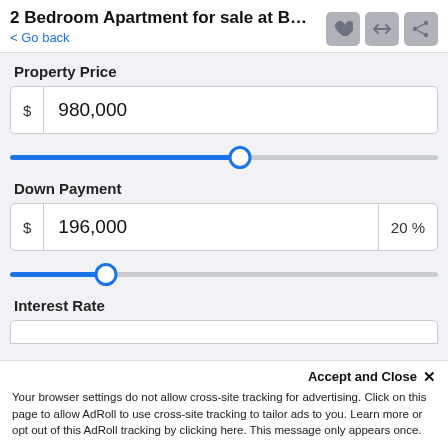2 Bedroom Apartment for sale at Burj Vi...
< Go back
Property Price
$ 980,000
Down Payment
$ 196,000  20 %
Interest Rate
Accept and Close ×
Your browser settings do not allow cross-site tracking for advertising. Click on this page to allow AdRoll to use cross-site tracking to tailor ads to you. Learn more or opt out of this AdRoll tracking by clicking here. This message only appears once.